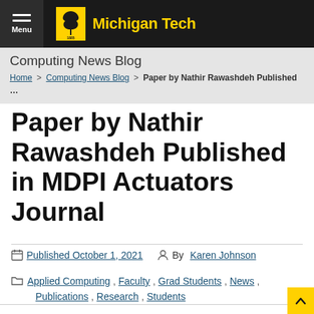Michigan Tech
Computing News Blog
Home > Computing News Blog > Paper by Nathir Rawashdeh Published …
Paper by Nathir Rawashdeh Published in MDPI Actuators Journal
Published October 1, 2021 · By Karen Johnson
Applied Computing, Faculty, Grad Students, News, Publications, Research, Students